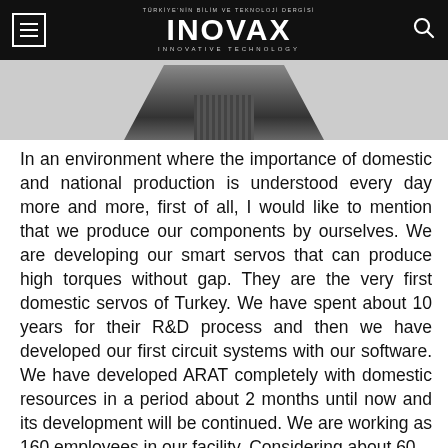INOVAX INNOVATIVE TECHNOLOGY
[Figure (photo): Partial view of a technology component or device, dark gray/black, shown at the top of the article page below the navigation bar.]
In an environment where the importance of domestic and national production is understood every day more and more, first of all, I would like to mention that we produce our components by ourselves. We are developing our smart servos that can produce high torques without gap. They are the very first domestic servos of Turkey. We have spent about 10 years for their R&D process and then we have developed our first circuit systems with our software. We have developed ARAT completely with domestic resources in a period about 2 months until now and its development will be continued. We are working as 160 employees in our facility. Considering about 60